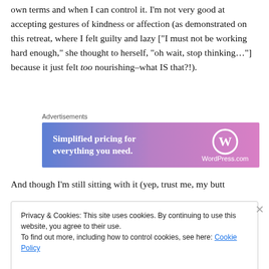own terms and when I can control it. I'm not very good at accepting gestures of kindness or affection (as demonstrated on this retreat, where I felt guilty and lazy ["I must not be working hard enough," she thought to herself, "oh wait, stop thinking…"] because it just felt too nourishing–what IS that?!).
[Figure (other): WordPress.com advertisement banner with gradient blue-to-purple background. Left side reads 'Simplified pricing for everything you need.' Right side shows WordPress.com logo (W in circle) and text 'WordPress.com'. Above banner is label 'Advertisements'.]
And though I'm still sitting with it (yep, trust me, my butt
Privacy & Cookies: This site uses cookies. By continuing to use this website, you agree to their use.
To find out more, including how to control cookies, see here: Cookie Policy
Close and accept